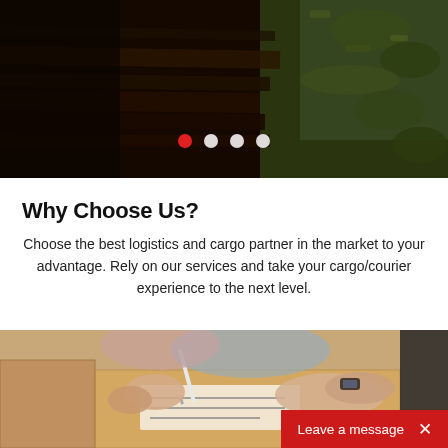[Figure (photo): Hero banner showing motion-blurred dark road/tunnel with rocky wall on the right, dark greenish tones, with four slider indicator dots (first dot red/active, three dots white)]
Why Choose Us?
Choose the best logistics and cargo partner in the market to your advantage. Rely on our services and take your cargo/courier experience to the next level.
[Figure (photo): Photo of two people writing/signing on a cardboard shipping box, with a pen visible; brown cardboard tones dominate; a red 'Leave a message' button overlay with X close icon appears at the bottom right]